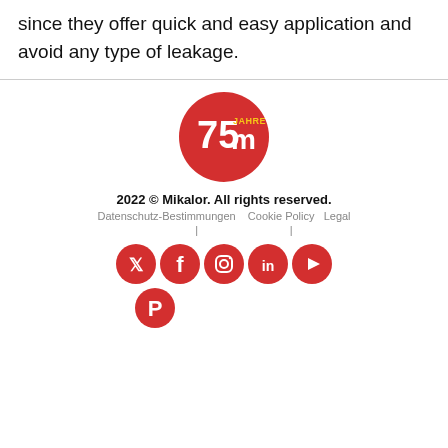since they offer quick and easy application and avoid any type of leakage.
[Figure (logo): Mikalor 75 Jahre anniversary logo - red circle with white 75, JAHRE text in yellow, and white m letter]
2022 © Mikalor. All rights reserved.
Datenschutz-Bestimmungen  Cookie Policy  Legal
Social media icons: Twitter, Facebook, Instagram, LinkedIn, YouTube, Pinterest